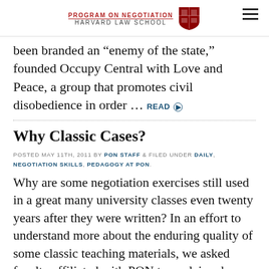PROGRAM ON NEGOTIATION HARVARD LAW SCHOOL
been branded an “enemy of the state,” founded Occupy Central with Love and Peace, a group that promotes civil disobedience in order … READ
Why Classic Cases?
POSTED MAY 11TH, 2011 BY PON STAFF & FILED UNDER DAILY, NEGOTIATION SKILLS, PEDAGOGY AT PON.
Why are some negotiation exercises still used in a great many university classes even twenty years after they were written? In an effort to understand more about the enduring quality of some classic teaching materials, we asked faculty affiliated with PON to explain why they think some role play simulations remain bestsellers in the Clearinghouse … READ